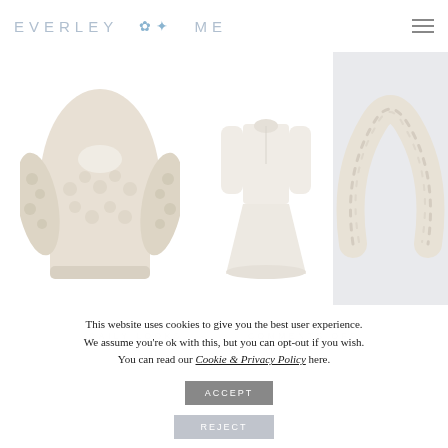EVERLEY ME
[Figure (photo): Three cream/white fashion product photos: a textured knit jacket, a long-sleeve fit-and-flare dress, and a chunky knit headband]
DAILY LOOKS  -  ·  COMMENTS OFF
This website uses cookies to give you the best user experience. We assume you're ok with this, but you can opt-out if you wish. You can read our Cookie & Privacy Policy here.
ACCEPT
REJECT